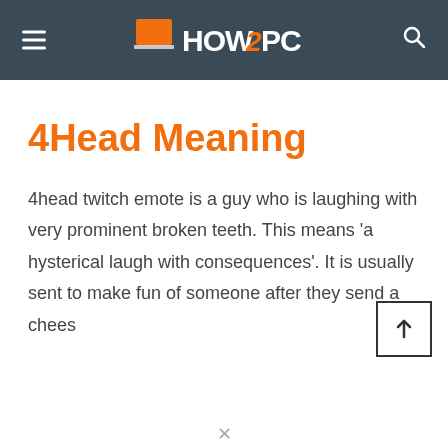HOW2PC
4Head Meaning
4head twitch emote is a guy who is laughing with very prominent broken teeth. This means ‘a hysterical laugh with consequences’. It is usually sent to make fun of someone after they send a chees...